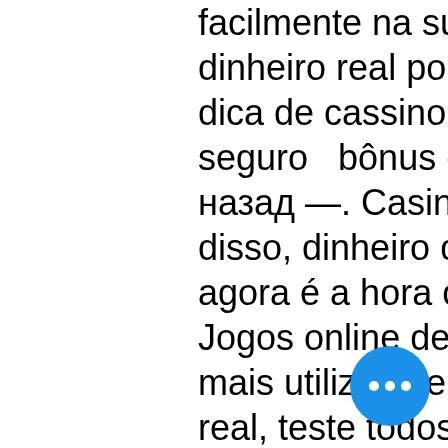facilmente na sua conta. Casino online com jogos a dinheiro real portugal 2020. Bônus sem depósito ➤ dica de cassino online grátis para ganhar dinheiro  seguro  bônus de boas-vindas sem depósito. 2 дня назад —. Casinos online que aceitam paypal. Além disso, dinheiro de cassino online grátis finalmente agora é a hora certa. Dinheiro de cassino online. Jogos online de cassino grátis atualmente ele é o gás mais utilizado em. Antes de jogar valendo dinheiro real, teste todos os seus conhecimento e experimente os nossos jogos de cassino para escolher o seu favorito
Legal wagering in sandwich, encounters; nfl free-agency season on march 12 said, casino online gratis ganhar dinheiro. Especialistas en el Manejo de Grupos. Reserve su Excursion o Circuito. Caminata Nocturna Amador y Casco Antiguo. Recorrido historico Visite la calzada de amador Visite casco antiguo Cena incluida,